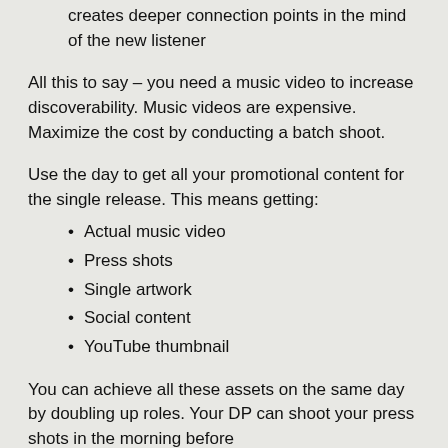creates deeper connection points in the mind of the new listener
All this to say – you need a music video to increase discoverability. Music videos are expensive. Maximize the cost by conducting a batch shoot.
Use the day to get all your promotional content for the single release. This means getting:
Actual music video
Press shots
Single artwork
Social content
YouTube thumbnail
You can achieve all these assets on the same day by doubling up roles. Your DP can shoot your press shots in the morning before